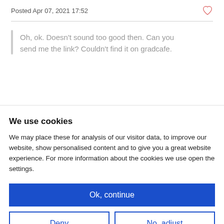Posted Apr 07, 2021 17:52
Oh, ok. Doesn't sound too good then. Can you send me the link? Couldn't find it on gradcafe.
We use cookies
We may place these for analysis of our visitor data, to improve our website, show personalised content and to give you a great website experience. For more information about the cookies we use open the settings.
Ok, continue
Deny
No, adjust